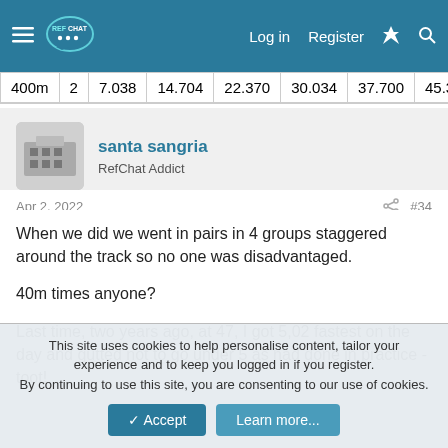RefChat — Log in  Register
| 400m | 2 | 7.038 | 14.704 | 22.370 | 30.034 | 37.700 | 45.366 |
| --- | --- | --- | --- | --- | --- | --- | --- |
santa sangria
RefChat Addict
Apr 2, 2022  #34
When we did we went in pairs in 4 groups staggered around the track so no one was disadvantaged.

40m times anyone?

Last time, two years ago, at 47, I got 5,02 fastest on the day and gutted not to go under 5 as had done in practice - toot!
This site uses cookies to help personalise content, tailor your experience and to keep you logged in if you register.
By continuing to use this site, you are consenting to our use of cookies.
Accept  Learn more...